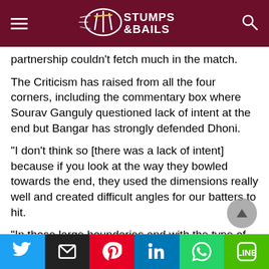Stumps & Bails
partnership couldn't fetch much in the match.
The Criticism has raised from all the four corners, including the commentary box where Sourav Ganguly questioned lack of intent at the end but Bangar has strongly defended Dhoni.
“I don’t think so [there was a lack of intent] because if you look at the way they bowled towards the end, they used the dimensions really well and created difficult angles for our batters to hit.
“In those large boundaries and with the type of balls they were bowling – slower bouncers, a lot of into the wicket deliveries, slower balls, I just felt maybe last one or two overs, the difference between runs required and balls left was a bit too much. Had we tried bigger shots earlier, we
Social share buttons: Twitter, Email, Pinterest, LinkedIn, WhatsApp, LINE